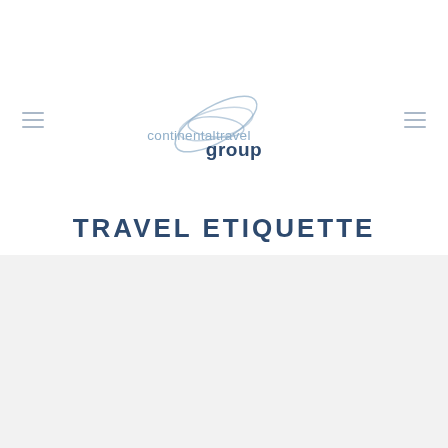[Figure (logo): Continental Travel Group logo with swoosh/orbit graphic and company name in blue-gray text]
TRAVEL ETIQUETTE
[Figure (photo): Light gray placeholder/content area below the title]